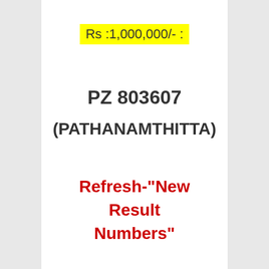Rs :1,000,000/- :
PZ 803607
(PATHANAMTHITTA)
Refresh-"New Result Numbers"